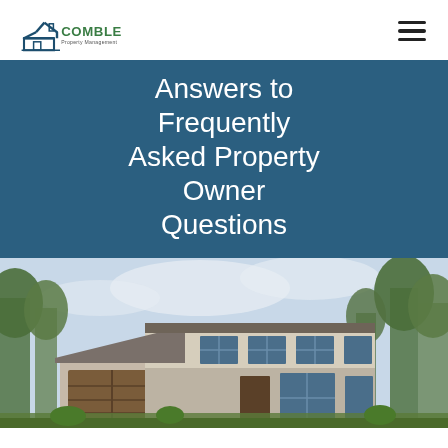[Figure (logo): Comble Property Management logo with house icon in dark blue/green and text]
Answers to Frequently Asked Property Owner Questions
[Figure (photo): Exterior photo of a modern two-story house with stone facade, large windows, brown garage door, and trees in background]